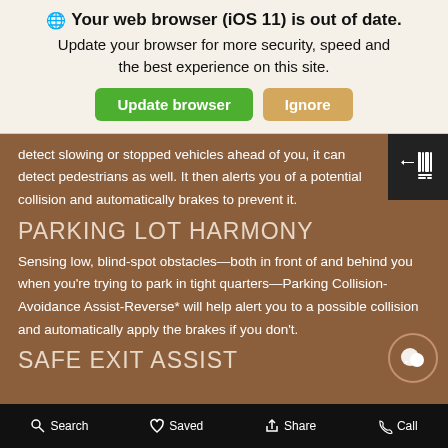🌐 Your web browser (iOS 11) is out of date. Update your browser for more security, speed and the best experience on this site.
detect slowing or stopped vehicles ahead of you, it can detect pedestrians as well. It then alerts you of a potential collision and automatically brakes to prevent it.
PARKING LOT HARMONY
Sensing low, blind-spot obstacles—both in front of and behind you when you're trying to park in tight quarters—Parking Collision-Avoidance Assist-Reverse* will help alert you to a possible collision and automatically apply the brakes if you don't.
SAFE EXIT ASSIST
Search   Saved   Share   Call